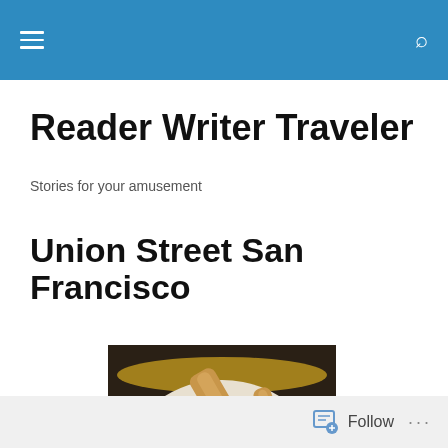Reader Writer Traveler — navigation bar
Reader Writer Traveler
Stories for your amusement
Union Street San Francisco
[Figure (photo): A plate of food featuring mozzarella caprese with fresh herbs, olive oil drizzle, and toasted baguette slices, served on a decorated ceramic plate with yellow and blue pattern border.]
Follow ...